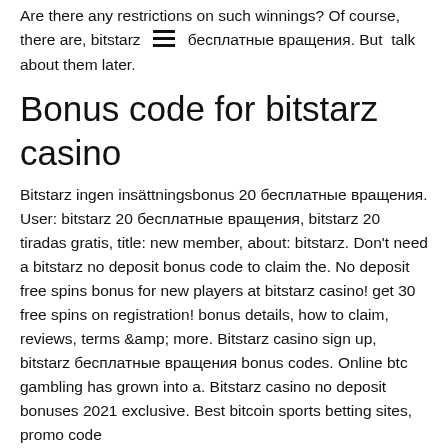Are there any restrictions on such winnings? Of course, there are, bitstarz [menu icon] бесплатные вращения. But [menu icon] talk about them later.
Bonus code for bitstarz casino
Bitstarz ingen insättningsbonus 20 бесплатные вращения. User: bitstarz 20 бесплатные вращения, bitstarz 20 tiradas gratis, title: new member, about: bitstarz. Don't need a bitstarz no deposit bonus code to claim the. No deposit free spins bonus for new players at bitstarz casino! get 30 free spins on registration! bonus details, how to claim, reviews, terms &amp; more. Bitstarz casino sign up, bitstarz бесплатные вращения bonus codes. Online btc gambling has grown into a. Bitstarz casino no deposit bonuses 2021 exclusive. Best bitcoin sports betting sites, promo code